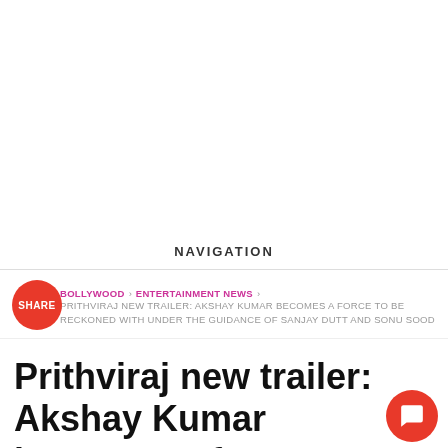NAVIGATION
SHARE
BOLLYWOOD > ENTERTAINMENT NEWS > PRITHVIRAJ NEW TRAILER: AKSHAY KUMAR BECOMES A FORCE TO BE RECKONED WITH UNDER THE GUIDANCE OF SANJAY DUTT AND SONU SOOD
Prithviraj new trailer: Akshay Kumar becomes a force to reckoned with under the